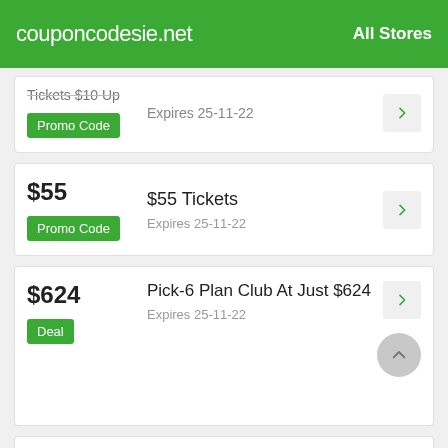couponcodesie.net   All Stores
Tickets $10 Up — Expires 25-11-22 — Promo Code
$55 — $55 Tickets — Expires 25-11-22 — Promo Code
$624 — Pick-6 Plan Club At Just $624 — Expires 25-11-22 — Deal
Sales — Sign In To Get Amazing Offers